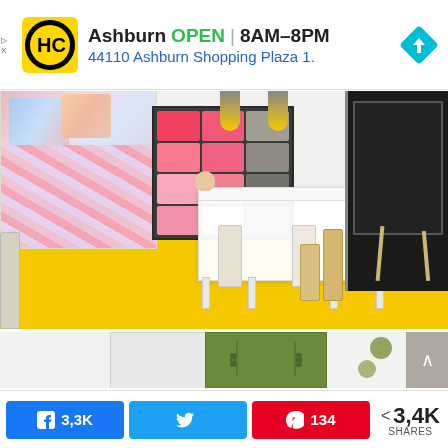[Figure (screenshot): Advertisement banner: HC logo (yellow square with HC letters), text 'Ashburn OPEN | 8AM-8PM' and '44110 Ashburn Shopping Plaza 1.' with a blue diamond arrow icon on the right. Small 'D X' ad marker on left.]
[Figure (photo): Top photo: Colorful children's bedroom/playroom with yellow floor, multicolored bedding on left, pink/colorful storage bins in shelving unit in center, white table and chairs, and a blackboard easel on the right.]
[Figure (photo): Bottom photo (partially visible): Room with white shelving units, olive/dark green wardrobe cabinets, and decorative elements on wall.]
3,3K
134
3,4K SHARES